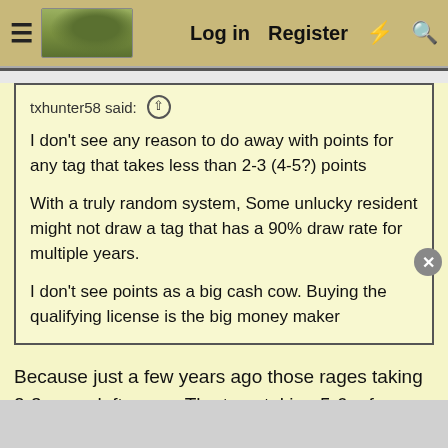Log in  Register
txhunter58 said: ↑

I don't see any reason to do away with points for any tag that takes less than 2-3 (4-5?) points

With a truly random system, Some unlucky resident might not draw a tag that has a 90% draw rate for multiple years.

I don't see points as a big cash cow. Buying the qualifying license is the big money maker
Because just a few years ago those rages taking 2-3 weee left overs. The tags taking 5-6 a few years should were took 1-2. This will only get worse and as Colorado grows population, it will accelerate.